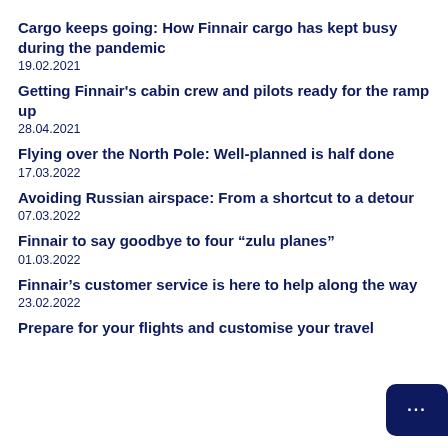Cargo keeps going: How Finnair cargo has kept busy during the pandemic
19.02.2021
Getting Finnair's cabin crew and pilots ready for the ramp up
28.04.2021
Flying over the North Pole: Well-planned is half done
17.03.2022
Avoiding Russian airspace: From a shortcut to a detour
07.03.2022
Finnair to say goodbye to four “zulu planes”
01.03.2022
Finnair’s customer service is here to help along the way
23.02.2022
Prepare for your flights and customise your travel